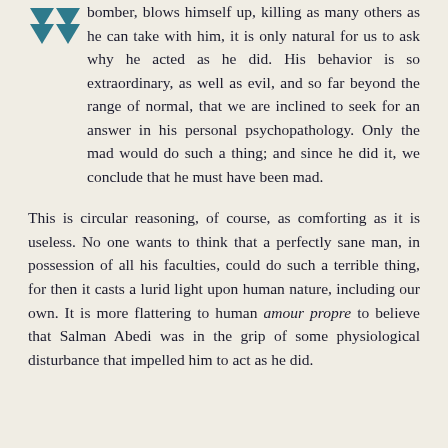[Figure (illustration): Two teal/blue downward-pointing triangular chevron shapes acting as a decorative drop-cap or section marker at the top left of the text block.]
bomber, blows himself up, killing as many others as he can take with him, it is only natural for us to ask why he acted as he did. His behavior is so extraordinary, as well as evil, and so far beyond the range of normal, that we are inclined to seek for an answer in his personal psychopathology. Only the mad would do such a thing; and since he did it, we conclude that he must have been mad.
This is circular reasoning, of course, as comforting as it is useless. No one wants to think that a perfectly sane man, in possession of all his faculties, could do such a terrible thing, for then it casts a lurid light upon human nature, including our own. It is more flattering to human amour propre to believe that Salman Abedi was in the grip of some physiological disturbance that impelled him to act as he did.